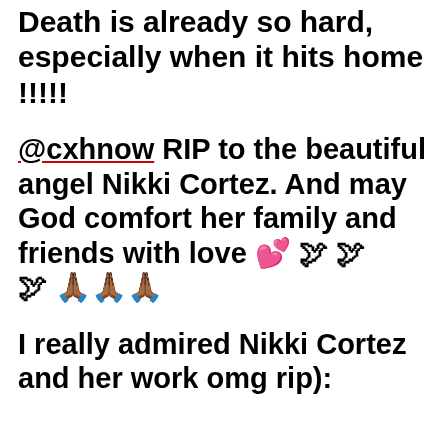Death is already so hard, especially when it hits home !!!!!
@cxhnow RIP to the beautiful angel Nikki Cortez. And may God comfort her family and friends with love 💕 🕊 🕊 🕊 🙏🙏🙏
I really admired Nikki Cortez and her work omg rip):